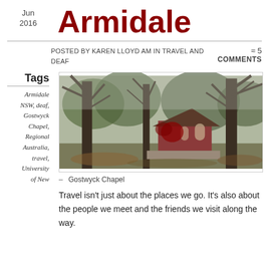Jun 2016
Armidale
Posted by Karen Lloyd AM in Travel and deaf ≈ 5 Comments
Tags
Armidale NSW, deaf, Gostwyck Chapel, Regional Australia, travel, University of New
[Figure (photo): Photograph of Gostwyck Chapel, a red brick chapel surrounded by large bare trees with autumn foliage on the ground]
– Gostwyck Chapel
Travel isn't just about the places we go. It's also about the people we meet and the friends we visit along the way.